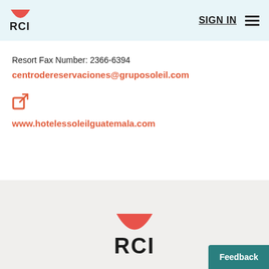[Figure (logo): RCI logo with red bowl/half-circle shape above bold black RCI text, small version in top-left navigation bar]
SIGN IN  ☰
Resort Fax Number: 2366-6394
centrodereservaciones@gruposoleil.com
[Figure (other): External link icon (orange/red square with arrow)]
www.hotelessoleilguatemala.com
[Figure (logo): RCI logo with red bowl/half-circle shape above bold black RCI text, large centered version in footer]
Feedback